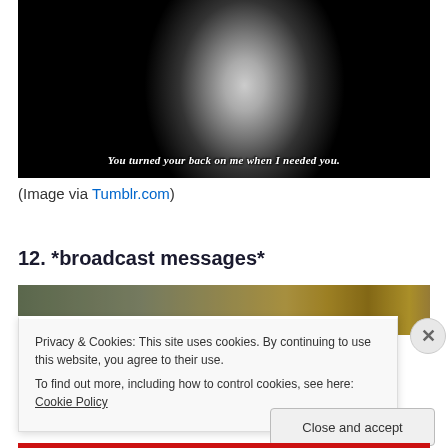[Figure (photo): Black and white photo of a woman's face in dramatic lighting with caption text: 'You turned your back on me when I needed you.']
(Image via Tumblr.com)
12. *broadcast messages*
[Figure (photo): Partial image partially obscured by cookie consent banner]
Privacy & Cookies: This site uses cookies. By continuing to use this website, you agree to their use.
To find out more, including how to control cookies, see here: Cookie Policy
Close and accept